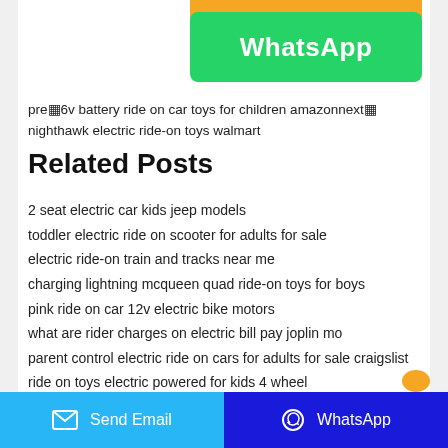[Figure (other): Green WhatsApp button with orange bar at top]
pre▦6v battery ride on car toys for children amazonnext▦ nighthawk electric ride-on toys walmart
Related Posts
2 seat electric car kids jeep models
toddler electric ride on scooter for adults for sale
electric ride-on train and tracks near me
charging lightning mcqueen quad ride-on toys for boys
pink ride on car 12v electric bike motors
what are rider charges on electric bill pay joplin mo
parent control electric ride on cars for adults for sale craigslist
ride on toys electric powered for kids 4 wheel
electric ride on toys for 7 year olds toddlers birthday party
Send Email | WhatsApp